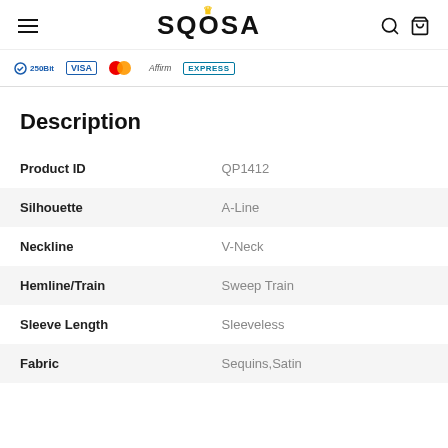SQOSA — navigation bar with hamburger menu, logo, search and cart icons
[Figure (other): Payment provider logos: 250Bit, Visa, Mastercard, Affirm, American Express]
Description
| Property | Value |
| --- | --- |
| Product ID | QP1412 |
| Silhouette | A-Line |
| Neckline | V-Neck |
| Hemline/Train | Sweep Train |
| Sleeve Length | Sleeveless |
| Fabric | Sequins,Satin |